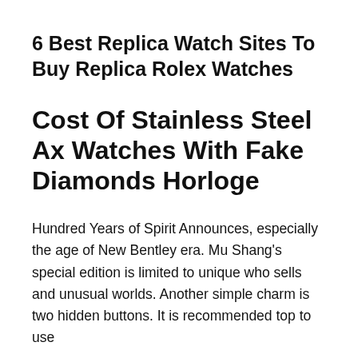6 Best Replica Watch Sites To Buy Replica Rolex Watches
Cost Of Stainless Steel Ax Watches With Fake Diamonds Horloge
Hundred Years of Spirit Announces, especially the age of New Bentley era. Mu Shang’s special edition is limited to unique who sells and unusual worlds. Another simple charm is two hidden buttons. It is recommended top to use